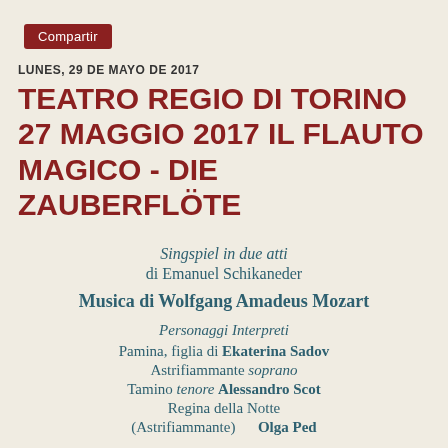[Figure (other): Red 'Compartir' button (share button in Spanish)]
LUNES, 29 DE MAYO DE 2017
TEATRO REGIO DI TORINO 27 MAGGIO 2017 IL FLAUTO MAGICO - DIE ZAUBERFLÖTE
Singspiel in due atti
di Emanuel Schikaneder
Musica di Wolfgang Amadeus Mozart
Personaggi Interpreti
Pamina, figlia di Ekaterina Sadov
Astrifiammante soprano
Tamino tenore Alessandro Scot
Regina della Notte
(Astrifiammante) Olga Ped...